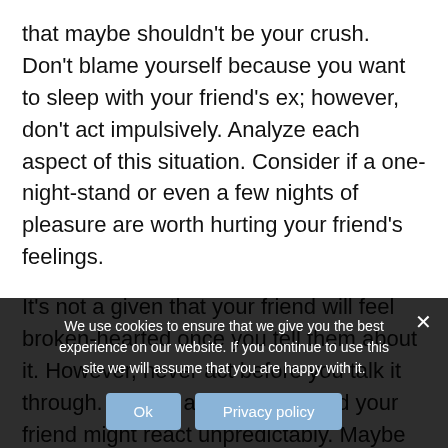that maybe shouldn't be your crush. Don't blame yourself because you want to sleep with your friend's ex; however, don't act impulsively. Analyze each aspect of this situation. Consider if a one-night-stand or even a few nights of pleasure are worth hurting your friend's feelings.
It's not a given that your friend will feel broken-hearted once you tell them about it. However, never act before you talk it through. People are different, and your friend might react unpredictably. Maybe there's no reason to
We use cookies to ensure that we give you the best experience on our website. If you continue to use this site we will assume that you are happy with it.